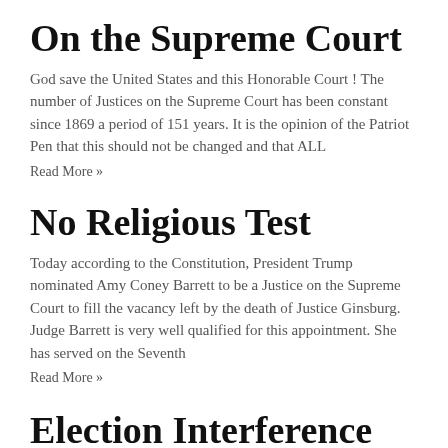On the Supreme Court
God save the United States and this Honorable Court ! The number of Justices on the Supreme Court has been constant since 1869 a period of 151 years. It is the opinion of the Patriot Pen that this should not be changed and that ALL
Read More »
No Religious Test
Today according to the Constitution, President Trump nominated Amy Coney Barrett to be a Justice on the Supreme Court to fill the vacancy left by the death of Justice Ginsburg. Judge Barrett is very well qualified for this appointment. She has served on the Seventh
Read More »
Election Interference
A big topic of discussion during this and the previous presidential